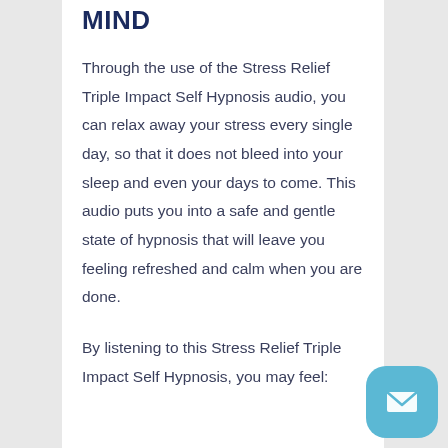MIND
Through the use of the Stress Relief Triple Impact Self Hypnosis audio, you can relax away your stress every single day, so that it does not bleed into your sleep and even your days to come. This audio puts you into a safe and gentle state of hypnosis that will leave you feeling refreshed and calm when you are done.
By listening to this Stress Relief Triple Impact Self Hypnosis, you may feel: